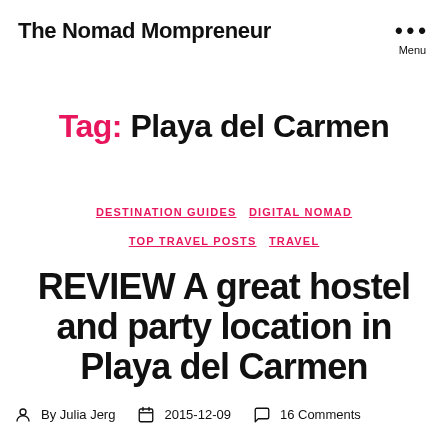The Nomad Mompreneur
Tag: Playa del Carmen
DESTINATION GUIDES  DIGITAL NOMAD  TOP TRAVEL POSTS  TRAVEL
REVIEW A great hostel and party location in Playa del Carmen
By Julia Jerg  2015-12-09  16 Comments